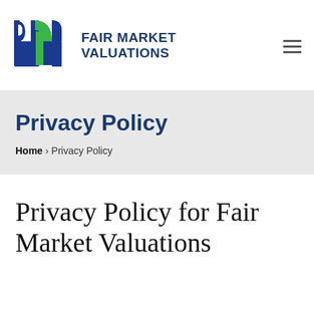[Figure (logo): Fair Market Valuations logo: stylized blue and green 'FM' lettermark with company name in bold dark blue uppercase text to the right]
Fair Market Valuations
Privacy Policy
Home > Privacy Policy
Privacy Policy for Fair Market Valuations